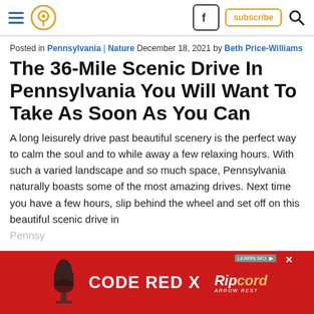Navigation bar with hamburger menu, location pin icon, Facebook icon, subscribe button, and search icon
Posted in Pennsylvania | Nature December 18, 2021 by Beth Price-Williams
The 36-Mile Scenic Drive In Pennsylvania You Will Want To Take As Soon As You Can
A long leisurely drive past beautiful scenery is the perfect way to calm the soul and to while away a few relaxing hours. With such a varied landscape and so much space, Pennsylvania naturally boasts some of the most amazing drives. Next time you have a few hours, slip behind the wheel and set off on this beautiful scenic drive in Pennsylvania.
[Figure (other): Advertisement banner: CODE RED X with Ripcord Arrow Rest logo on red background]